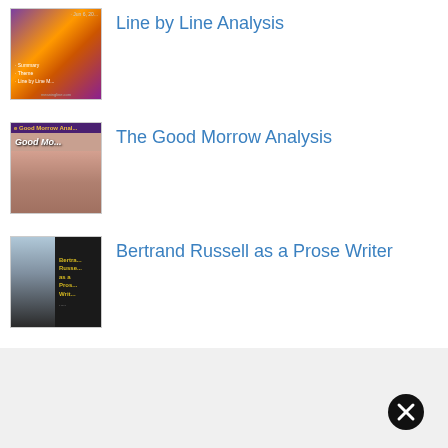[Figure (illustration): Thumbnail image for 'Line by Line Analysis' — sunset/purple book cover with bullet points]
Line by Line Analysis
[Figure (illustration): Thumbnail image for 'The Good Morrow Analysis' — couple, dark banner with yellow text]
The Good Morrow Analysis
[Figure (illustration): Thumbnail image for 'Bertrand Russell as a Prose Writer' — elderly man with book cover text]
Bertrand Russell as a Prose Writer